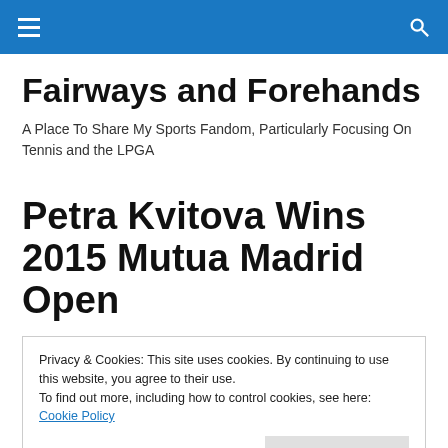≡  🔍
Fairways and Forehands
A Place To Share My Sports Fandom, Particularly Focusing On Tennis and the LPGA
Petra Kvitova Wins 2015 Mutua Madrid Open
Privacy & Cookies: This site uses cookies. By continuing to use this website, you agree to their use.
To find out more, including how to control cookies, see here: Cookie Policy
Close and accept
[Figure (photo): Partial photo visible at bottom of page, appears to show a person]